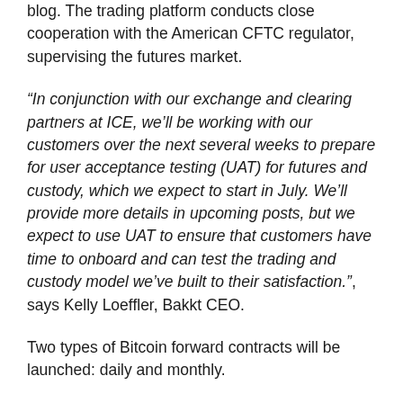blog. The trading platform conducts close cooperation with the American CFTC regulator, supervising the futures market.
“In conjunction with our exchange and clearing partners at ICE, we’ll be working with our customers over the next several weeks to prepare for user acceptance testing (UAT) for futures and custody, which we expect to start in July. We’ll provide more details in upcoming posts, but we expect to use UAT to ensure that customers have time to onboard and can test the trading and custody model we’ve built to their satisfaction.”, says Kelly Loeffler, Bakkt CEO.
Two types of Bitcoin forward contracts will be launched: daily and monthly.